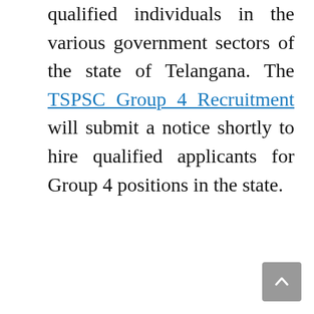qualified individuals in the various government sectors of the state of Telangana. The TSPSC Group 4 Recruitment will submit a notice shortly to hire qualified applicants for Group 4 positions in the state.